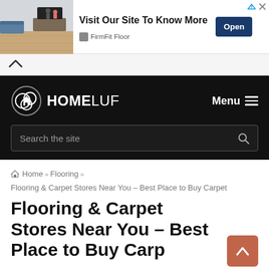[Figure (screenshot): Advertisement banner for FirmFit Floor showing a living room with flooring, headline 'Visit Our Site To Know More', an Open button, and an X close button]
^ (chevron/collapse button)
[Figure (logo): HOMELUF logo on black navigation bar with Menu hamburger icon and search bar reading 'Search the site']
Home » Flooring »
Flooring & Carpet Stores Near You – Best Place to Buy Carpet
Flooring & Carpet Stores Near You – Best Place to Buy Carpet